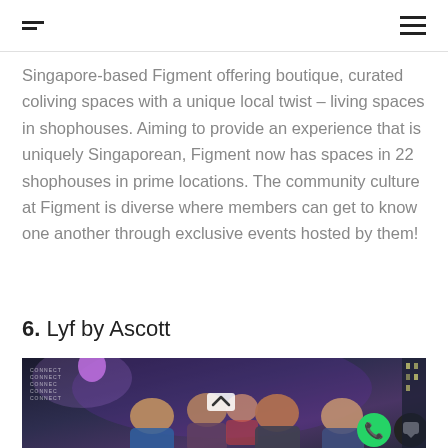F [logo] [hamburger menu]
Singapore-based Figment offering boutique, curated coliving spaces with a unique local twist – living spaces in shophouses. Aiming to provide an experience that is uniquely Singaporean, Figment now has spaces in 22 shophouses in prime locations. The community culture at Figment is diverse where members can get to know one another through exclusive events hosted by them!
6. Lyf by Ascott
[Figure (photo): Group of young people smiling and laughing at an event, with colourful lights in the background. A WhatsApp button and a chat button are overlaid in the bottom right corner, and a scroll-up arrow is overlaid at the bottom center.]